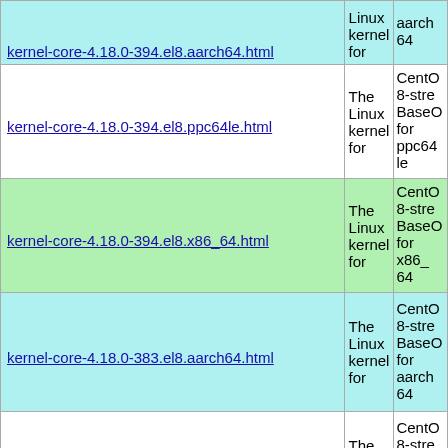| Package | Summary | Description |
| --- | --- | --- |
| kernel-core-4.18.0-394.el8.aarch64.html (truncated at top) | The Linux kernel for | CentOS 8-stream BaseOS for aarch64 |
| kernel-core-4.18.0-394.el8.ppc64le.html | The Linux kernel for | CentOS 8-stream BaseOS for ppc64le |
| kernel-core-4.18.0-394.el8.x86_64.html | The Linux kernel for | CentOS 8-stream BaseOS for x86_64 |
| kernel-core-4.18.0-383.el8.aarch64.html | The Linux kernel for | CentOS 8-stream BaseOS for aarch64 |
| kernel-core-4.18.0-383.el8.ppc64le.html | The Linux kernel for | CentOS 8-stream BaseOS for ppc64le |
| kernel-core-4.18.0-383.el8.x86_64.html (partial) | The | CentOS 8-stream |